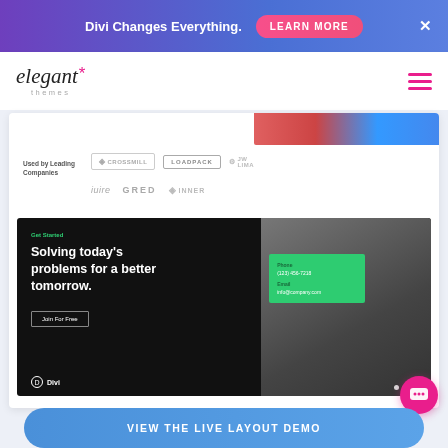Divi Changes Everything. LEARN MORE ×
[Figure (screenshot): Elegant Themes website navigation bar with logo and hamburger menu]
[Figure (screenshot): Website content area showing company logos section: Used by Leading Companies, with logos for CROSSMILL, LOADPACK, JW LIMA, iuire, GRED, INNER]
[Figure (screenshot): Divi theme demo screenshot showing 'Get Started / Solving today's problems for a better tomorrow.' with Join For Free button and a contact card with phone and email fields]
VIEW THE LIVE LAYOUT DEMO